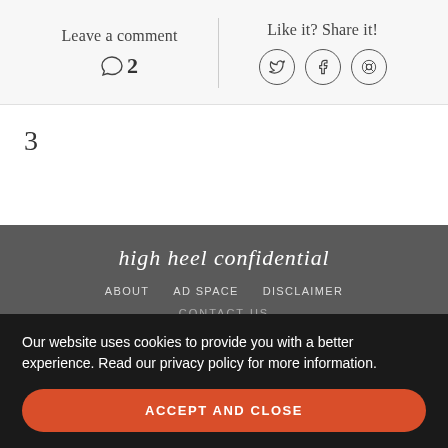Leave a comment
💬 2
Like it? Share it!
3
high heel confidential
ABOUT   AD SPACE   DISCLAIMER
CONTACT US
Our website uses cookies to provide you with a better experience. Read our privacy policy for more information.
ACCEPT AND CLOSE